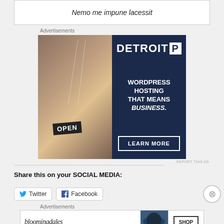Nemo me impune lacessit
Advertisements
[Figure (photo): Detroit P WordPress Hosting advertisement showing a woman holding an OPEN sign with text: WORDPRESS HOSTING THAT MEANS BUSINESS. LEARN MORE button.]
REPORT THIS AD
Share this on your SOCIAL MEDIA:
Twitter
Facebook
Advertisements
[Figure (photo): Bloomingdales advertisement showing a woman in a hat with text: bloomingdales, View Today's Top Deals!, SHOP NOW >]